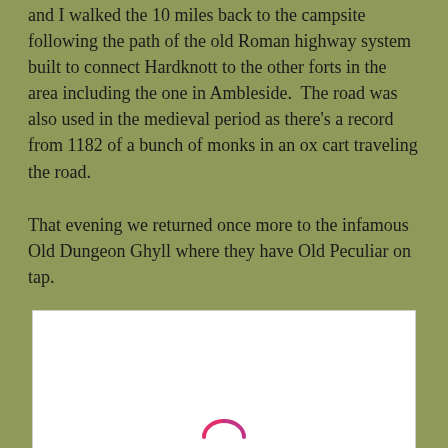and I walked the 10 miles back to the campsite following the path of the old Roman highway system built to connect Hardknott to the other forts in the area including the one in Ambleside.  The road was also used in the medieval period as there's a record from 1182 of a bunch of monks in an ox cart traveling the road.
That evening we returned once more to the infamous Old Dungeon Ghyll where they have Old Peculiar on tap.
[Figure (photo): A white image placeholder box with a partial Instagram icon visible at the bottom center.]